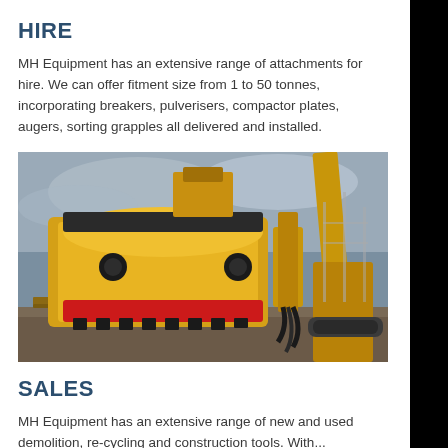HIRE
MH Equipment has an extensive range of attachments for hire. We can offer fitment size from 1 to 50 tonnes, incorporating breakers, pulverisers, compactor plates, augers, sorting grapples all delivered and installed.
[Figure (photo): A large yellow hydraulic demolition attachment / pulveriser on a construction site, with an excavator visible in the background against an overcast sky.]
SALES
MH Equipment has an extensive range of new and used demolition, re-cycling and construction tools. With...